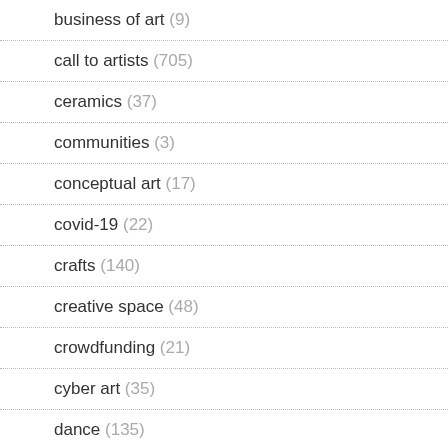business of art (9)
call to artists (705)
ceramics (37)
communities (3)
conceptual art (17)
covid-19 (22)
crafts (140)
creative space (48)
crowdfunding (21)
cyber art (35)
dance (135)
digital art (1)